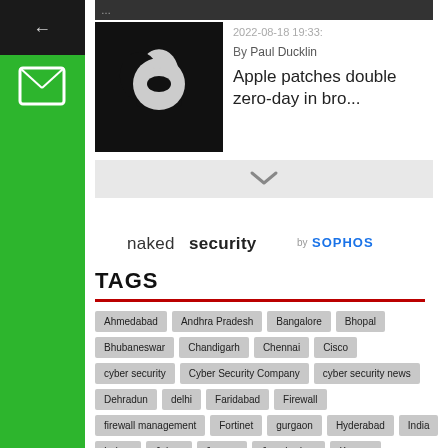[Figure (screenshot): Left sidebar with arrow, envelope/form icon, and 'Ask An Expert' vertical text on green background]
[Figure (photo): Apple logo on black background]
2022-08-18 19:33:
By Paul Ducklin
Apple patches double zero-day in bro...
[Figure (logo): naked security by SOPHOS logo]
TAGS
Ahmedabad
Andhra Pradesh
Bangalore
Bhopal
Bhubaneswar
Chandigarh
Chennai
Cisco
cyber security
Cyber Security Company
cyber security news
Dehradun
delhi
Faridabad
Firewall
firewall management
Fortinet
gurgaon
Hyderabad
India
Indore
Jaipur
Jammu
Jamshedpur
Kanpur
Karnataka
Kochi
Kolkata
Lucknow
Ludhiana
Maharashtra